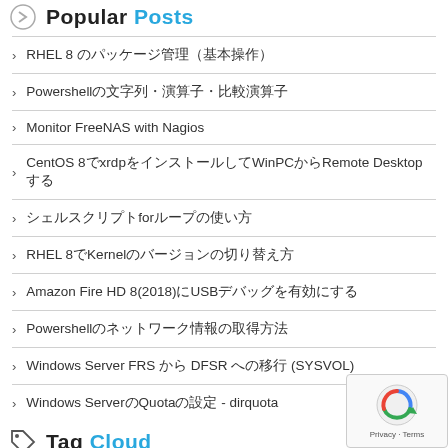Popular Posts
RHEL 8 のパッケージ管理（基本操作）
Powershellの文字列・演算子・比較演算子
Monitor FreeNAS with Nagios
CentOS 8でxrdpをインストールしてWinPCからRemote Desktopする
シェルスクリプトforループの使い方
RHEL 8でKernelのバージョンの切り替え方
Amazon Fire HD 8(2018)にUSBデバッグを有効にする
Powershellのネットワーク情報の取得方法
Windows Server FRS から DFSR への移行 (SYSVOL)
Windows ServerのQuotaの設定 - dirquota
Tag Cloud